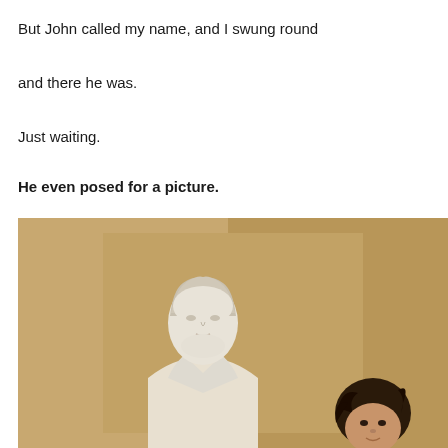But John called my name, and I swung round
and there he was.
Just waiting.
He even posed for a picture.
[Figure (photo): A white marble or plaster bust sculpture of a man in 19th century attire (coat and cravat), with a person with dark curly hair visible to the right and slightly behind the bust. The background is tan/brown paneled walls.]